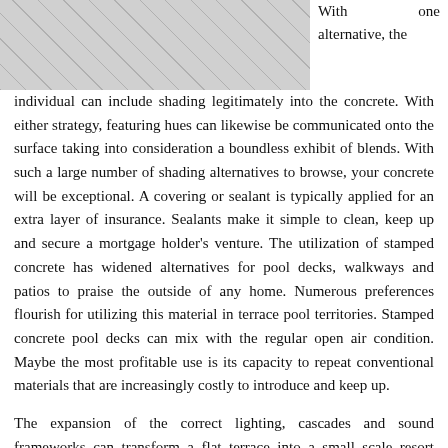[Figure (photo): Photo of a decorative stamped concrete or tile surface, showing a patterned stone/tile pool deck or patio area, partially visible at the top left of the page.]
With one alternative, the individual can include shading legitimately into the concrete. With either strategy, featuring hues can likewise be communicated onto the surface taking into consideration a boundless exhibit of blends. With such a large number of shading alternatives to browse, your concrete will be exceptional. A covering or sealant is typically applied for an extra layer of insurance. Sealants make it simple to clean, keep up and secure a mortgage holder’s venture. The utilization of stamped concrete has widened alternatives for pool decks, walkways and patios to praise the outside of any home. Numerous preferences flourish for utilizing this material in terrace pool territories. Stamped concrete pool decks can mix with the regular open air condition. Maybe the most profitable use is its capacity to repeat conventional materials that are increasingly costly to introduce and keep up.
The expansion of the correct lighting, cascades and sound frameworks can transform a flat terrace into a small scale resort territory. Indeed, even with little, space-tested patios, the expansion of a decorative concrete pool deck can have a critical effect. These applications commonly ought to be applied each a few years. Standard upkeep additionally incorporates keeping the surface clean. Similarly as with any concrete, development from shape and